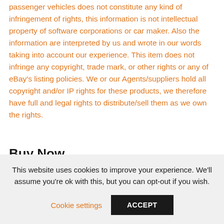passenger vehicles does not constitute any kind of infringement of rights, this information is not intellectual property of software corporations or car maker. Also the information are interpreted by us and wrote in our words taking into account our experience. This item does not infringe any copyright, trade mark, or other rights or any of eBay's listing policies. We or our Agents/suppliers hold all copyright and/or IP rights for these products, we therefore have full and legal rights to distribute/sell them as we own the rights.
Buy Now
This website uses cookies to improve your experience. We'll assume you're ok with this, but you can opt-out if you wish.